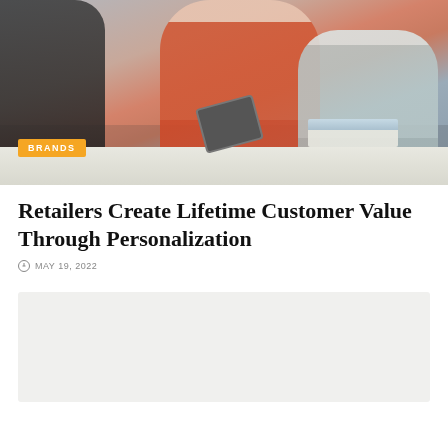[Figure (photo): Photo of three people at a meeting table: a person in dark jacket on the left, a smiling woman in orange sweater holding a tablet in the center, and a man in gray shirt on the right. Papers and documents are on the table. A 'BRANDS' tag is shown in the lower-left corner of the image.]
Retailers Create Lifetime Customer Value Through Personalization
MAY 19, 2022
[Figure (other): Gray/light placeholder image block]